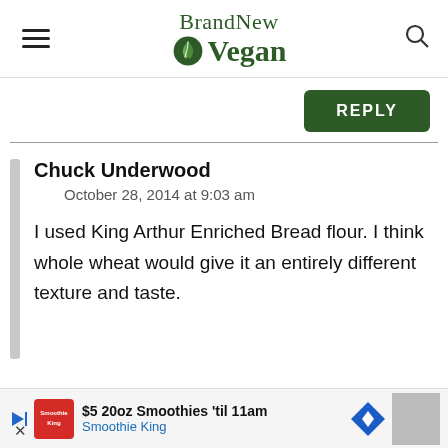BrandNew Vegan
REPLY
Chuck Underwood
October 28, 2014 at 9:03 am
I used King Arthur Enriched Bread flour. I think whole wheat would give it an entirely different texture and taste.
$5 20oz Smoothies 'til 11am Smoothie King